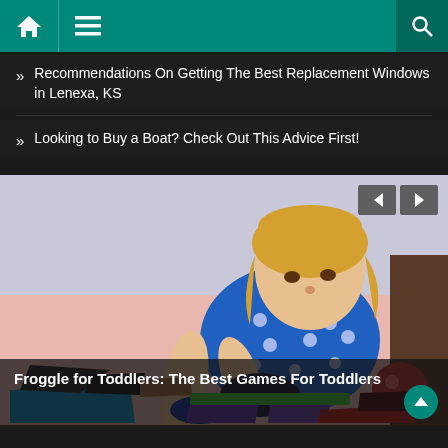Navigation bar with home, menu, and search icons
Recommendations On Getting The Best Replacement Windows in Lenexa, KS
Looking to Buy a Boat? Check Out This Advice First!
[Figure (photo): A young toddler girl with blonde hair wearing a blue polka-dot outfit sitting on a pink bed, reaching forward to play with colorful geometric puzzle pieces (tangrams) in blue, green, purple, red, and black.]
Froggle for Toddlers: The Best Games For Toddlers